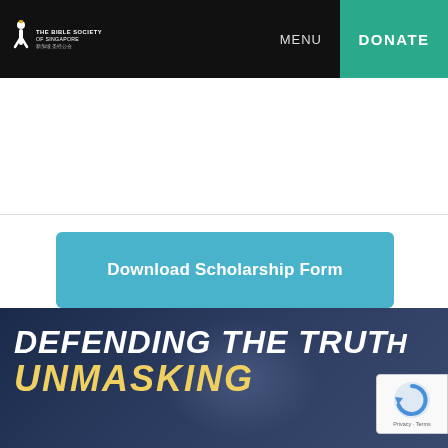THE BIBLE SOCIETY OF SINGAPORE | MENU | DONATE
Download Scholarship Form
[Figure (screenshot): Bottom banner with text 'DEFENDING THE TRUTH UNMASKING' on a dark blue background with an event/book cover image]